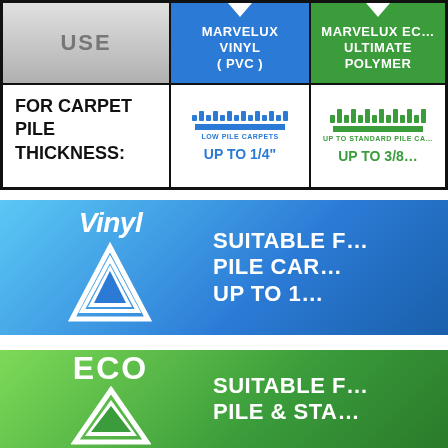[Figure (infographic): Product comparison table header: USE column (grey), MARVELUX VINYL (PVC) column (blue), MARVELUX ECO ULTIMATE POLYMER column (green). Row: FOR CARPET PILE THICKNESS with blue low-pile dots and 'UP TO 1/4"' in blue, and green standard-pile dots with 'UP TO 3/8' in green.]
[Figure (infographic): Blue gradient banner with Vinyl logo (italic 'Vinyl' text with downward-pointing triangle V) on left and 'SUITABLE FOR PILE CARPETS UP TO 1...' text on right in white bold.]
[Figure (infographic): Green gradient banner with ECO logo ('ECO' bold text with downward-pointing triangle V) on left and 'SUITABLE FOR PILE & STA...' text on right in white bold.]